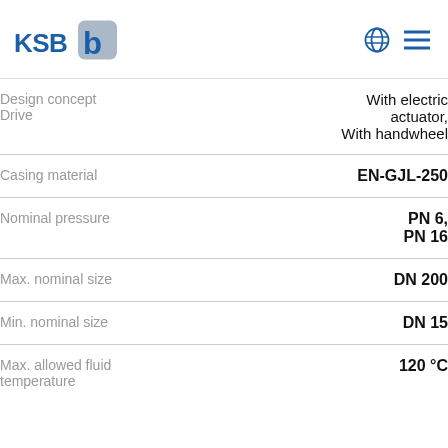KSB logo with globe and menu icons
| Property | Value |
| --- | --- |
| Design concept Drive | With electric actuator, With handwheel |
| Casing material | EN-GJL-250 |
| Nominal pressure | PN 6, PN 16 |
| Max. nominal size | DN 200 |
| Min. nominal size | DN 15 |
| Max. allowed fluid temperature | 120 °C |